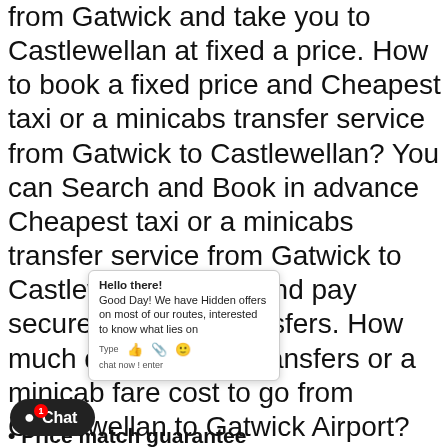from Gatwick and take you to Castlewellan at fixed a price. How to book a fixed price and Cheapest taxi or a minicabs transfer service from Gatwick to Castlewellan? You can Search and Book in advance Cheapest taxi or a minicabs transfer service from Gatwick to Castlewellan online and pay securely for your transfers. How much does the taxi transfers or a minicab fare cost to go from Castlewellan to Gatwick Airport? Estimated taxi transfer cost from Gatwick to Castlewellan is What is the distance between Gatwick and Castlewellan when travelling by taxi, minicab or driving from Gatwick to Castlewellan? Estimated distance between Gatwick to Castlewellan is 479.55 miles. The journey time or how long does take from Gatwick to Castlewellan? Estimated journey time from Gatwick to Castlewellan is 1970-01-01 09:35:00 minutes
[Figure (screenshot): Chat popup widget with 'Hello there! Good Day! We have Hidden offers on most of our routes, interested to know what lies on' text and Type/emoji icons, plus a chat now/enter prompt]
Price match guarantee